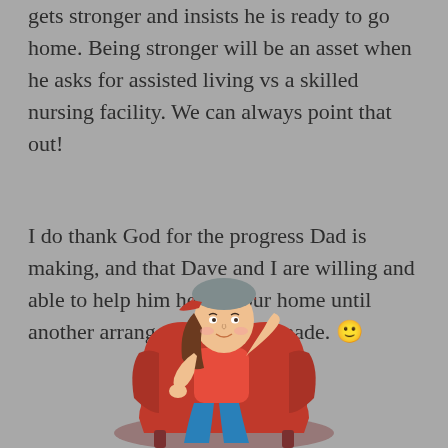gets stronger and insists he is ready to go home. Being stronger will be an asset when he asks for assisted living vs a skilled nursing facility. We can always point that out!
I do thank God for the progress Dad is making, and that Dave and I are willing and able to help him here in our home until another arrangement can be made. 🙂
[Figure (illustration): Cartoon bitmoji-style illustration of a woman with brown hair wearing a red and grey baseball cap, resting/relaxing in a red chair, wearing a red top and jeans.]